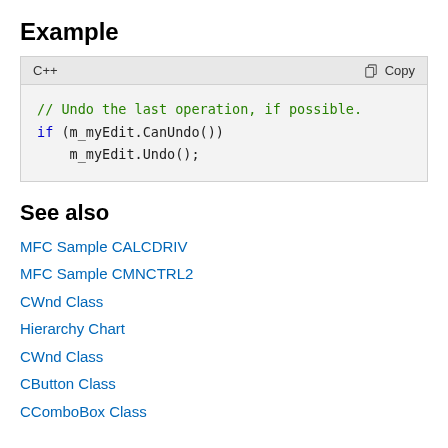Example
[Figure (screenshot): C++ code block with light gray background showing a comment and if statement using m_myEdit.CanUndo() and m_myEdit.Undo()]
See also
MFC Sample CALCDRIV
MFC Sample CMNCTRL2
CWnd Class
Hierarchy Chart
CWnd Class
CButton Class
CComboBox Class